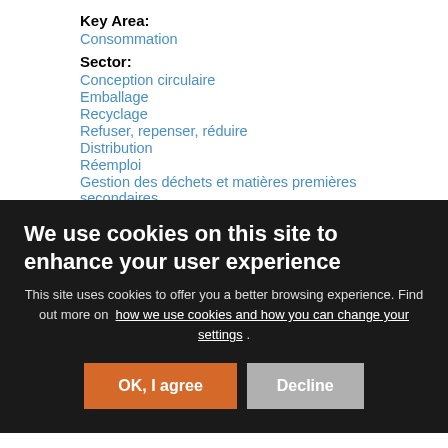Key Area:
Consommation
Sector:
Conception circulaire
Emballage
Recyclage
Refuser, repenser, réduire
Distribution
Réemploi
Gestion des déchets et matières premières secondaires
Scope:
Organizing Body:
EuroCommerce
We use cookies on this site to enhance your user experience
This site uses cookies to offer you a better browsing experience. Find out more on how we use cookies and how you can change your settings.